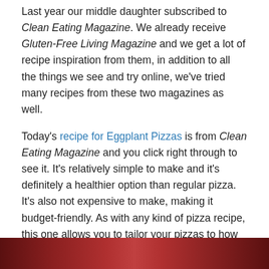Last year our middle daughter subscribed to Clean Eating Magazine. We already receive Gluten-Free Living Magazine and we get a lot of recipe inspiration from them, in addition to all the things we see and try online, we've tried many recipes from these two magazines as well.
Today's recipe for Eggplant Pizzas is from Clean Eating Magazine and you click right through to see it. It's relatively simple to make and it's definitely a healthier option than regular pizza. It's also not expensive to make, making it budget-friendly. As with any kind of pizza recipe, this one allows you to tailor your pizzas to how you like them so if you don't like pepperoni or roasted red peppers, you can skip them. It's easy to switch up the ingredients as you wish. I like artichoke hearts, pepperoni, olives and roasted red peppers on mine.
[Figure (photo): Bottom strip of a food photo showing what appears to be eggplant pizzas, partially cropped]